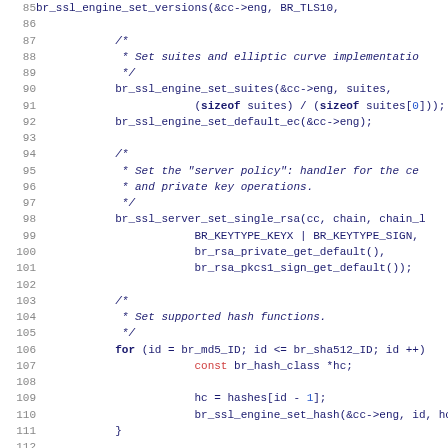[Figure (screenshot): Source code listing showing C code for SSL/TLS engine configuration, lines 85-117, with line numbers on the left and syntax-highlighted code on the right.]